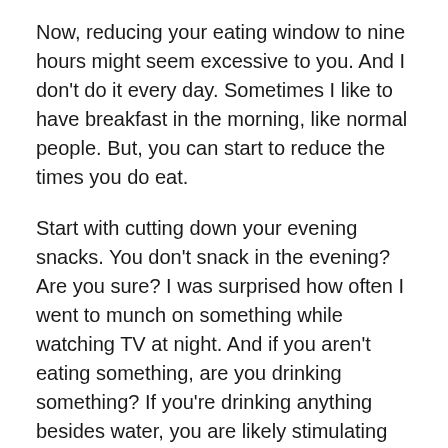Now, reducing your eating window to nine hours might seem excessive to you. And I don't do it every day. Sometimes I like to have breakfast in the morning, like normal people. But, you can start to reduce the times you do eat.
Start with cutting down your evening snacks. You don't snack in the evening? Are you sure? I was surprised how often I went to munch on something while watching TV at night. And if you aren't eating something, are you drinking something? If you're drinking anything besides water, you are likely stimulating your insulin response.
If you reduce the times that you succumb to evening cravings, you will notice a slight decrease in weight. And that slight decrease can become a more significant weight loss if you keep it up.